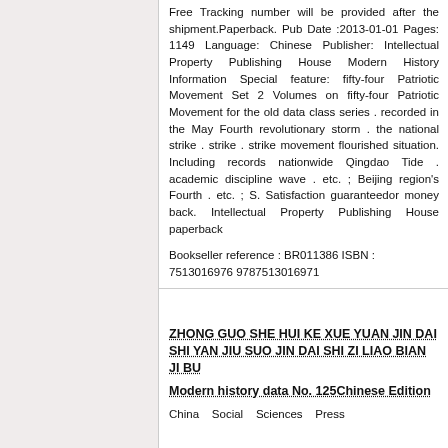Free Tracking number will be provided after the shipment.Paperback. Pub Date :2013-01-01 Pages: 1149 Language: Chinese Publisher: Intellectual Property Publishing House Modern History Information Special feature: fifty-four Patriotic Movement Set 2 Volumes on fifty-four Patriotic Movement for the old data class series . recorded in the May Fourth revolutionary storm . the national strike . strike . strike movement flourished situation. Including records nationwide Qingdao Tide . academic discipline wave . etc. ; Beijing region's Fourth . etc. ; S. Satisfaction guaranteedor money back. Intellectual Property Publishing House paperback
Bookseller reference : BR011386 ISBN : 7513016976 9787513016971
ZHONG GUO SHE HUI KE XUE YUAN JIN DAI SHI YAN JIU SUO JIN DAI SHI ZI LIAO BIAN JI BU
Modern history data No. 125Chinese Edition
China Social Sciences Press